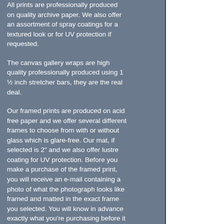All prints are professionally produced on quality archive paper. We also offer an assortment of spray coatings for a textured look or for UV protection if requested.
The canvas gallery wraps are high quality professionally produced using 1 ½ inch stretcher bars, they are the real deal.
Our framed prints are produced on acid free paper and we offer several different frames to choose from with or without glass which is glare-free. Our mat, if selected is 2" and we also offer lustre coating for UV protection. Before you make a purchase of the framed print, you will receive an e-mail containing a photo of what the photograph looks like framed and matted in the exact frame you selected. You will know in advance exactly what you're purchasing before it ships so there is no surprises except nice ones when you receive your piece. We offer sizes from small to very large in all of our photographs to fit whatever space you require. As mentioned earlier, we offer many different types of frames in assorted colors and finishes including